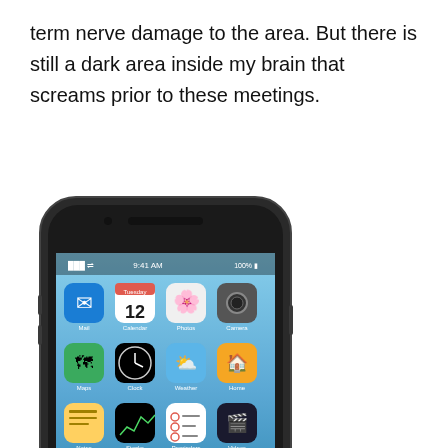term nerve damage to the area. But there is still a dark area inside my brain that screams prior to these meetings.
[Figure (photo): An iPhone (space gray) showing the iOS home screen with app icons including Mail, Calendar, Photos, Camera, Maps, Clock, Weather, Home, Notes, Stocks, Reminders, Videos, App Store, Game Center, Health, and dock apps (Phone, Safari, Messages, Music). The wallpaper shows a beach/ocean scene.]